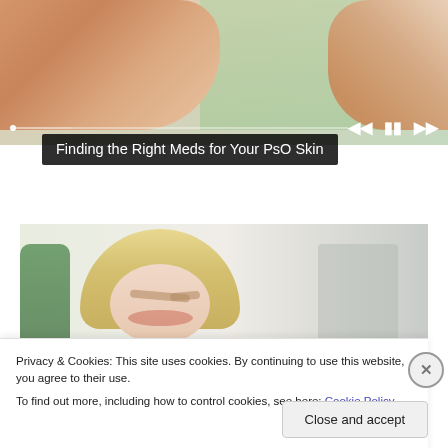[Figure (screenshot): Video player showing hands with psoriasis skin condition, with playback controls and progress bar at the bottom]
Finding the Right Meds for Your PsO Skin
[Figure (photo): Blonde woman in yellow/orange sweater looking downward with a concerned expression, against a light background with plant]
Privacy & Cookies: This site uses cookies. By continuing to use this website, you agree to their use.
To find out more, including how to control cookies, see here: Cookie Policy
Close and accept